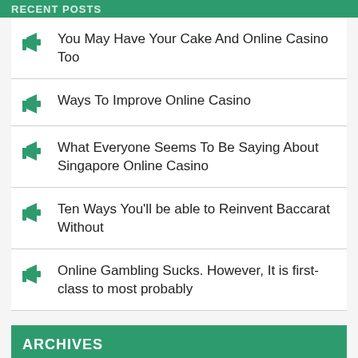RECENT POSTS
You May Have Your Cake And Online Casino Too
Ways To Improve Online Casino
What Everyone Seems To Be Saying About Singapore Online Casino
Ten Ways You'll be able to Reinvent Baccarat Without
Online Gambling Sucks. However, It is first-class to most probably
ARCHIVES